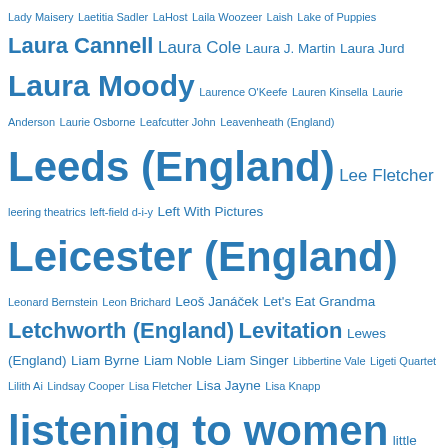Lady Maisery Laetitia Sadler LaHost Laila Woozeer Laish Lake of Puppies Laura Cannell Laura Cole Laura J. Martin Laura Jurd Laura Moody Laurence O'Keefe Lauren Kinsella Laurie Anderson Laurie Osborne Leafcutter John Leavenheath (England) Leeds (England) Lee Fletcher leering theatrics left-field d-i-y Left With Pictures Leicester (England) Leonard Bernstein Leon Brichard Leoš Janáček Let's Eat Grandma Letchworth (England) Levitation Lewes (England) Liam Byrne Liam Noble Liam Singer Libbertine Vale Ligeti Quartet Lilith Ai Lindsay Cooper Lisa Fletcher Lisa Jayne Lisa Knapp listening to women little islands of belief live concert recordings live concerts Liverpool (England) lo-fi Lobelia Lawson London (England) London Composers Forum London Contemporary Music Festival (event) London Improvisers Orchestra London Jazz Festival (event) London Philharmonic Orchestra Lonesome Cowboys From Hell Loose Tubes Lore Lixenberg Lorkin O'Reilly Los Angeles (USA) Lost Crowns Louis Barabbas Louis Barrabas Low Low Low La La La Love Love Love LSO St Luke's (venue) - St Luke's - London